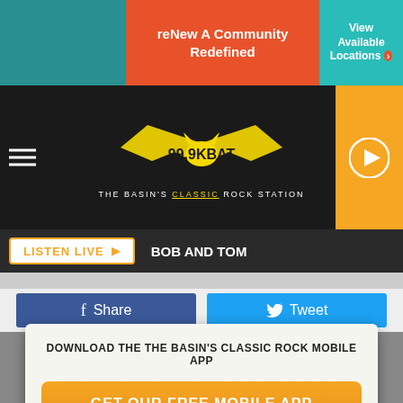[Figure (screenshot): Radio station website screenshot for 99.9 KBAT The Basin's Classic Rock Station showing advertisement banner, navigation, listen live button, social share buttons, and mobile app download section]
reNew A Community Redefined
View Available Locations
THE BASIN'S CLASSIC ROCK STATION
LISTEN LIVE   BOB AND TOM
Share
Tweet
DOWNLOAD THE THE BASIN'S CLASSIC ROCK MOBILE APP
GET OUR FREE MOBILE APP
Also listen on:   amazon alexa
reNew A Community Redefined
View Available Locations